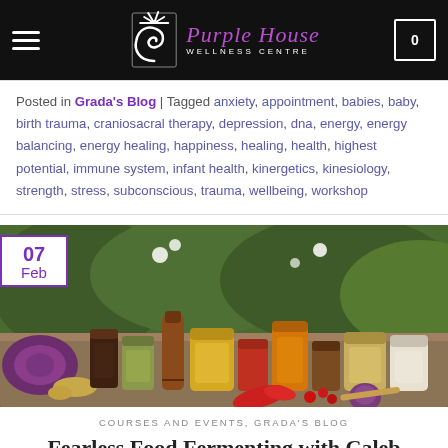Purple House Wellness Centre — navigation header
Posted in Grada's Blog | Tagged anxiety, appointment, babies, baby, birth trauma, craniosacral therapy, depression, dna, energy, energy balancing, energy healing, happiness, healing, health, highest potential, immune system, infant health, kinergetics, kinesiology, strength, stress, subconscious, trauma, wellbeing, workshop
[Figure (photo): A table with assorted fermented foods in jars and bottles with vegetables and herbs in background, dated 07 Feb]
COURSES AND EVENTS, GRADA'S BLOG
Fearless Food Fermenting with Caleb